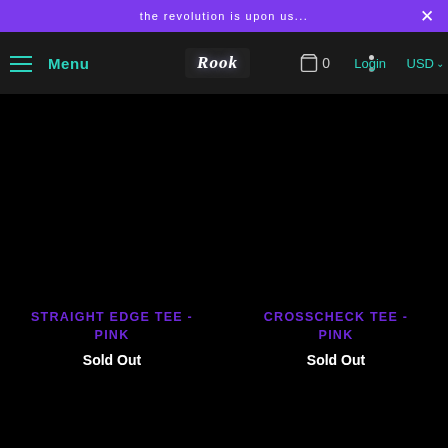the revolution is upon us...
Menu | ROOK | 0 | Login | USD
STRAIGHT EDGE TEE - PINK
Sold Out
CROSSCHECK TEE - PINK
Sold Out